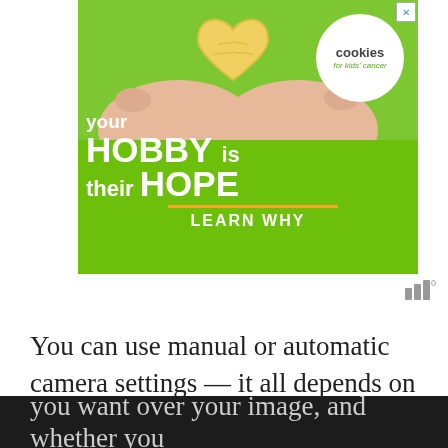[Figure (illustration): Advertisement banner for 'cookies for kids cancer' charity. Green background with hands holding a heart-shaped cookie. Text: 'your HOBBY is their HOPE' and 'LEARN WHY'. White circle with 'cookies for kids cancer' logo. Close button (X) in top-right corner.]
You can use manual or automatic camera settings — it all depends on how much control you want over your image, and whether you